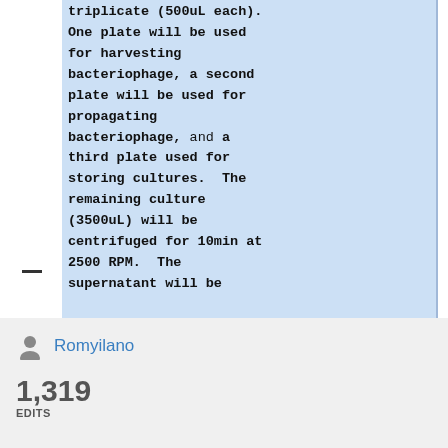triplicate (500uL each). One plate will be used for harvesting bacteriophage, a second plate will be used for propagating bacteriophage, and a third plate used for storing cultures.  The remaining culture (3500uL) will be centrifuged for 10min at 2500 RPM.  The supernatant will be
Romyilano
1,319 EDITS